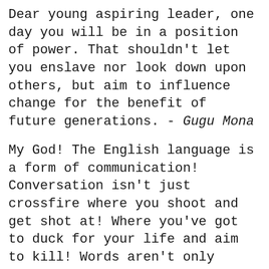Dear young aspiring leader, one day you will be in a position of power. That shouldn't let you enslave nor look down upon others, but aim to influence change for the benefit of future generations. - Gugu Mona
My God! The English language is a form of communication! Conversation isn't just crossfire where you shoot and get shot at! Where you've got to duck for your life and aim to kill! Words aren't only bombs and bullets —no, they're little gifts, containing meanings! - Philip Roth
Desperately struggling, kicking down other people.Stealing the stolen, while repeating your reasons over and over.And even so